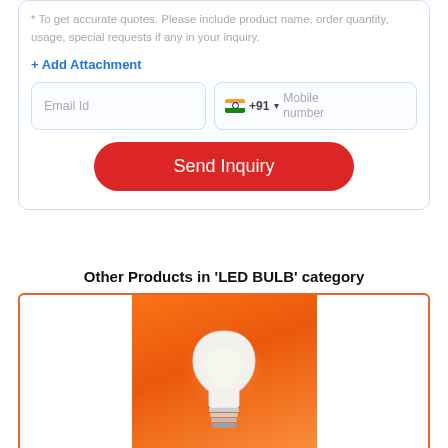* To get accurate quotes. Please include product name, order quantity, usage, special requests if any in your inquiry.
+ Add Attachment
Email Id
+91  Mobile number
Send Inquiry
Other Products in 'LED BULB' category
[Figure (photo): LED bulb product image on orange gradient background]